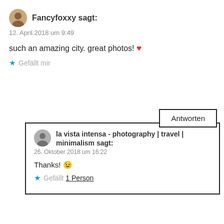Fancyfoxxy sagt:
12. April 2018 um 9:49
such an amazing city. great photos! ❤
★ Gefällt mir
Antworten
la vista intensa - photography | travel | minimalism sagt:
26. Oktober 2018 um 16:22
Thanks! 😉
★ Gefällt 1 Person